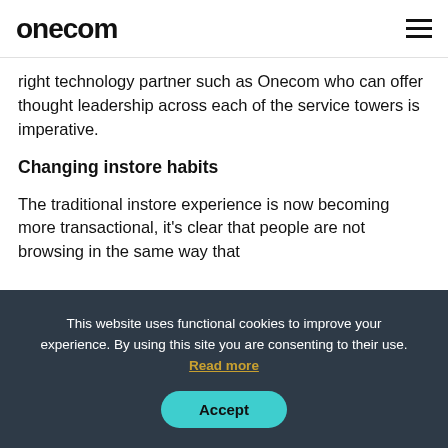onecom
right technology partner such as Onecom who can offer thought leadership across each of the service towers is imperative.
Changing instore habits
The traditional instore experience is now becoming more transactional, it's clear that people are not browsing in the same way that
This website uses functional cookies to improve your experience. By using this site you are consenting to their use. Read more
Accept